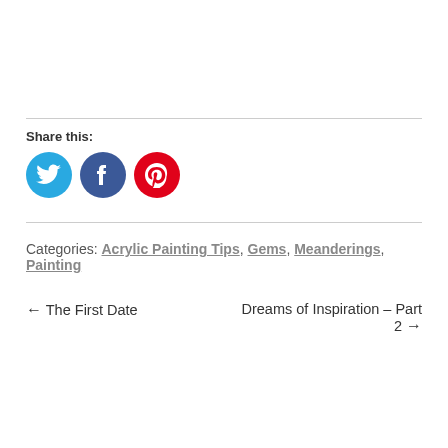Share this:
[Figure (infographic): Social share icons: Twitter (blue circle with bird), Facebook (dark blue circle with f), Pinterest (red circle with P)]
Categories: Acrylic Painting Tips, Gems, Meanderings, Painting
← The First Date
Dreams of Inspiration – Part 2 →